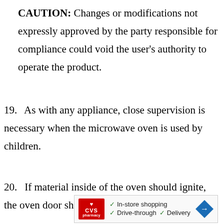CAUTION: Changes or modifications not expressly approved by the party responsible for compliance could void the user's authority to operate the product.
19. As with any appliance, close supervision is necessary when the microwave oven is used by children.
20. If material inside of the oven should ignite, the oven door should be kept closed, the
[Figure (other): CVS Pharmacy advertisement banner showing in-store shopping, drive-through, and delivery options with navigation arrow icon]